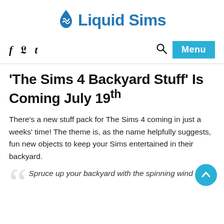Liquid Sims
'The Sims 4 Backyard Stuff' Is Coming July 19th
There's a new stuff pack for The Sims 4 coming in just a weeks' time! The theme is, as the name helpfully suggests, fun new objects to keep your Sims entertained in their backyard.
Spruce up your backyard with the spinning wind